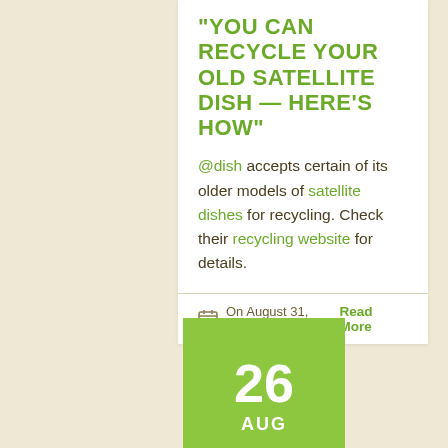"YOU CAN RECYCLE YOUR OLD SATELLITE DISH — HERE'S HOW"
@dish accepts certain of its older models of satellite dishes for recycling. Check their recycling website for details.
On August 31, 2021   Read More
26 AUG